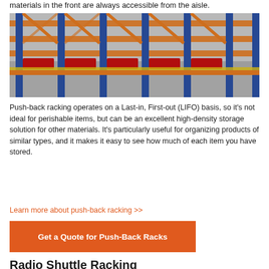materials in the front are always accessible from the aisle.
[Figure (photo): Push-back racking system with orange and blue metal shelving frames in a warehouse, showing multiple levels of racking with red push-back carts.]
Push-back racking operates on a Last-in, First-out (LIFO) basis, so it's not ideal for perishable items, but can be an excellent high-density storage solution for other materials. It's particularly useful for organizing products of similar types, and it makes it easy to see how much of each item you have stored.
Learn more about push-back racking >>
Get a Quote for Push-Back Racks
Radio Shuttle Racking
A Radio Shuttle Rack operates similarly to